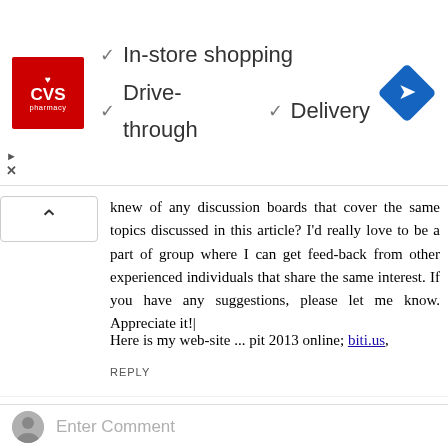[Figure (illustration): CVS Pharmacy advertisement banner showing CVS logo, checkmarks for In-store shopping, Drive-through, and Delivery options, and a blue navigation arrow icon]
knew of any discussion boards that cover the same topics discussed in this article? I'd really love to be a part of group where I can get feed-back from other experienced individuals that share the same interest. If you have any suggestions, please let me know. Appreciate it!
Here is my web-site ... pit 2013 online; biti.us,
REPLY
GlassesShop  December 29, 2016 at 7:46 AM
Hello, I enjoy reading all of your post.
REPLY
Enter Comment